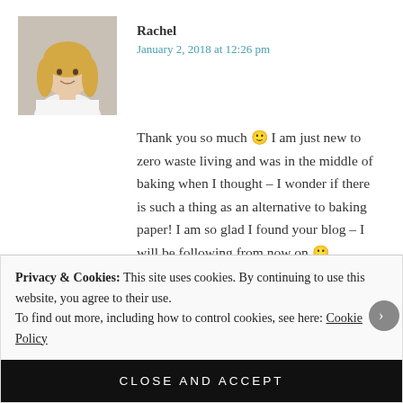[Figure (photo): Avatar photo of Rachel, a blonde woman in a white top]
Rachel
January 2, 2018 at 12:26 pm
Thank you so much 🙂 I am just new to zero waste living and was in the middle of baking when I thought – I wonder if there is such a thing as an alternative to baking paper! I am so glad I found your blog – I will be following from now on 🙂
Privacy & Cookies: This site uses cookies. By continuing to use this website, you agree to their use.
To find out more, including how to control cookies, see here: Cookie Policy
CLOSE AND ACCEPT